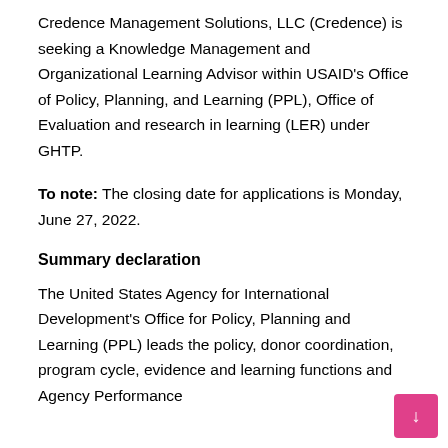Credence Management Solutions, LLC (Credence) is seeking a Knowledge Management and Organizational Learning Advisor within USAID's Office of Policy, Planning, and Learning (PPL), Office of Evaluation and research in learning (LER) under GHTP.
To note: The closing date for applications is Monday, June 27, 2022.
Summary declaration
The United States Agency for International Development's Office for Policy, Planning and Learning (PPL) leads the policy, donor coordination, program cycle, evidence and learning functions and Agency Performance